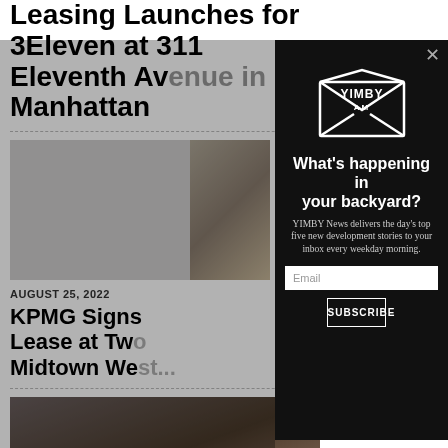Leasing Launches for 3Eleven at 311 Eleventh Avenue in Manhattan
AUGUST 25, 2022
KPMG Signs Lease at Two Midtown We...
[Figure (screenshot): YIMBY AM newsletter signup modal with envelope logo, headline 'What's happening in your backyard?', subtext, email field, and subscribe button]
What's happening in your backyard?
YIMBY News delivers the day's top five new development stories to your inbox every weekday morning.
Email
SUBSCRIBE